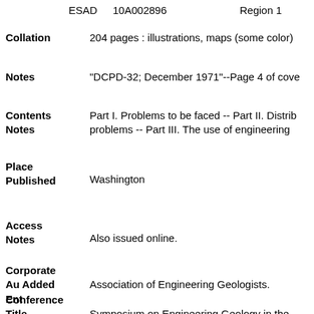ESAD   10A002896   Region 1
Collation: 204 pages : illustrations, maps (some color)
Notes: "DCPD-32; December 1971"--Page 4 of cove
Contents Notes: Part I. Problems to be faced -- Part II. Distrib problems -- Part III. The use of engineering
Place Published: Washington
Access Notes: Also issued online.
Corporate Au Added Ent: Association of Engineering Geologists.
Conference Title: Symposium on Engineering Geology in the